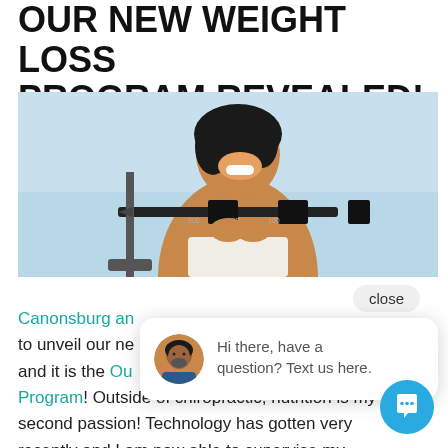OUR NEW WEIGHT LOSS PROGRAM REVEALED!
[Figure (photo): Smiling woman looking at a medical balance scale, light blue background]
close
[Figure (other): Live chat widget with avatar of a man and text: Hi there, have a question? Text us here.]
Canonsburg an... to unveil our ne... and it is the Ou... Program! Outside of chiropractic, nutrition is my second passion! Technology has gotten very recently and I am now able to supervise my patients online daily all while being HIPAA